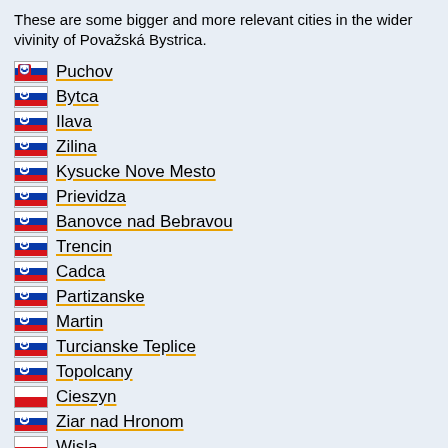These are some bigger and more relevant cities in the wider vivinity of Považská Bystrica.
Puchov
Bytca
Ilava
Zilina
Kysucke Nove Mesto
Prievidza
Banovce nad Bebravou
Trencin
Cadca
Partizanske
Martin
Turcianske Teplice
Topolcany
Cieszyn
Ziar nad Hronom
Wisla